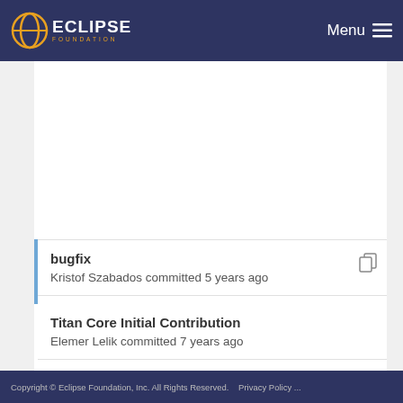ECLIPSE FOUNDATION  FOUNDATION  Menu
bugfix
Kristof Szabados committed 5 years ago
Titan Core Initial Contribution
Elemer Lelik committed 7 years ago
Copyright © Eclipse Foundation, Inc. All Rights Reserved.   Privacy Policy ...